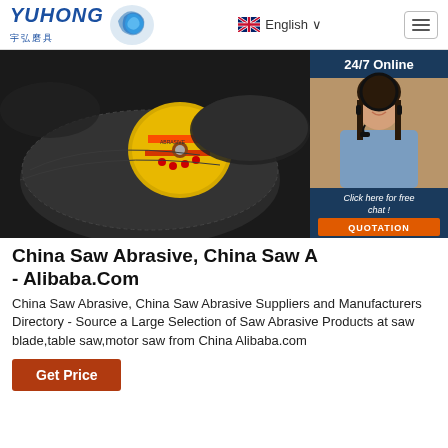[Figure (logo): Yuhong logo with blue wave icon and Chinese characters 宇弘磨具]
English
[Figure (photo): Close-up photo of black abrasive cutting discs with yellow center label]
[Figure (photo): 24/7 Online chat panel with customer service agent photo, Click here for free chat! and QUOTATION button]
China Saw Abrasive, China Saw A... - Alibaba.Com
China Saw Abrasive, China Saw Abrasive Suppliers and Manufacturers Directory - Source a Large Selection of Saw Abrasive Products at saw blade,table saw,motor saw from China Alibaba.com
Get Price